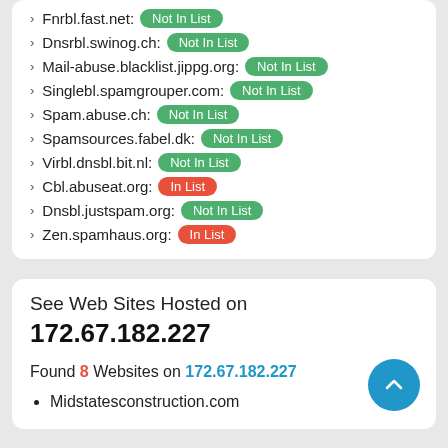Fnrbl.fast.net: Not In List
Dnsrbl.swinog.ch: Not In List
Mail-abuse.blacklist.jippg.org: Not In List
Singlebl.spamgrouper.com: Not In List
Spam.abuse.ch: Not In List
Spamsources.fabel.dk: Not In List
Virbl.dnsbl.bit.nl: Not In List
Cbl.abuseat.org: In List
Dnsbl.justspam.org: Not In List
Zen.spamhaus.org: In List
See Web Sites Hosted on 172.67.182.227
Found 8 Websites on 172.67.182.227
Midstatesconstruction.com